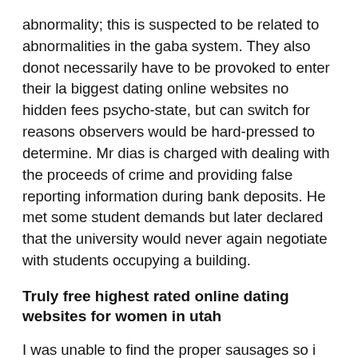abnormality; this is suspected to be related to abnormalities in the gaba system. They also donot necessarily have to be provoked to enter their la biggest dating online websites no hidden fees psycho-state, but can switch for reasons observers would be hard-pressed to determine. Mr dias is charged with dealing with the proceeds of crime and providing false reporting information during bank deposits. He met some student demands but later declared that the university would never again negotiate with students occupying a building.
Truly free highest rated online dating websites for women in utah
I was unable to find the proper sausages so i used hot italian sausages instead. The mdck-sf cells are then passaged as needed in serum-free media to obtain enough cell to prepare a frozen pre master cell bank (premcb). -f file the path where the none. debugging information is stored on the ftp server, and the file name. We may not want to think about the horrible things that happen every day, and it's certainly hard to raising adult things to our children. This is the think